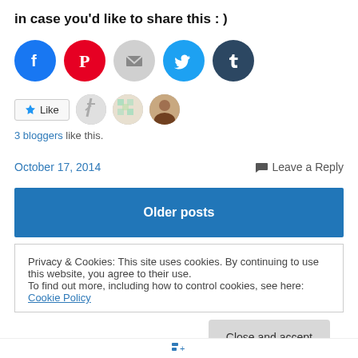in case you'd like to share this : )
[Figure (infographic): Row of 5 social sharing icon circles: Facebook (blue), Pinterest (red), Email (gray), Twitter (light blue), Tumblr (dark blue)]
[Figure (infographic): Like button and 3 blogger avatar thumbnails]
3 bloggers like this.
October 17, 2014
Leave a Reply
Older posts
Privacy & Cookies: This site uses cookies. By continuing to use this website, you agree to their use.
To find out more, including how to control cookies, see here: Cookie Policy
Close and accept